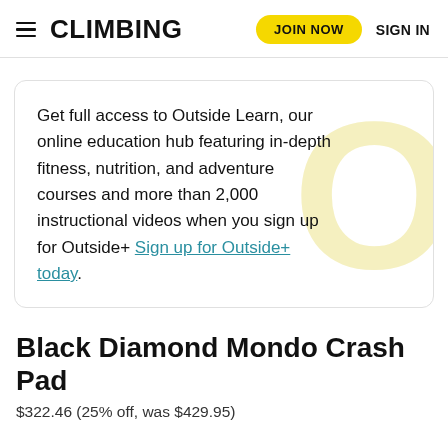CLIMBING | JOIN NOW | SIGN IN
Get full access to Outside Learn, our online education hub featuring in-depth fitness, nutrition, and adventure courses and more than 2,000 instructional videos when you sign up for Outside+ Sign up for Outside+ today.
Black Diamond Mondo Crash Pad
$322.46 (25% off, was $429.95)